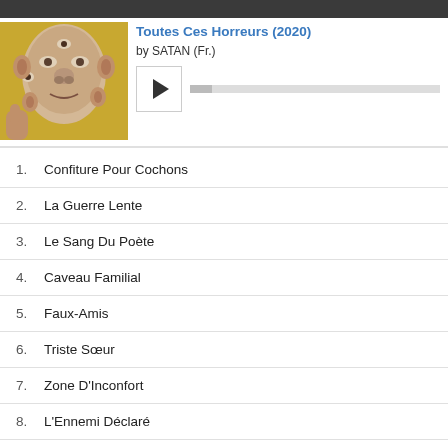Toutes Ces Horreurs (2020)
by SATAN (Fr.)
[Figure (illustration): Album artwork showing a surrealist painting of a distorted face with multiple eyes and ears on a yellow background]
1. Confiture Pour Cochons
2. La Guerre Lente
3. Le Sang Du Poète
4. Caveau Familial
5. Faux-Amis
6. Triste Sœur
7. Zone D'Inconfort
8. L'Ennemi Déclaré
9. Peinture Au Plomb
10. Le Sang Des Bêtes